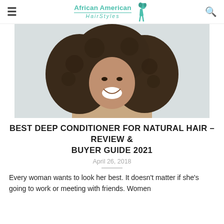African American HairStyles [logo with woman figure] [hamburger menu] [search icon]
[Figure (photo): Portrait of a smiling young Black woman with voluminous curly natural hair, bare shoulders, light background]
BEST DEEP CONDITIONER FOR NATURAL HAIR – REVIEW & BUYER GUIDE 2021
April 26, 2018
Every woman wants to look her best. It doesn't matter if she's going to work or meeting with friends. Women…